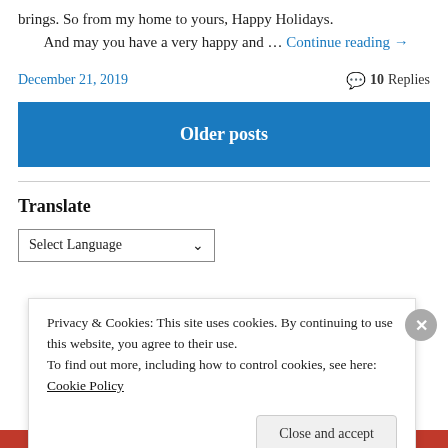brings. So from my home to yours, Happy Holidays.
	And may you have a very happy and … Continue reading →
December 21, 2019
💬 10 Replies
Older posts
Translate
Select Language
Privacy & Cookies: This site uses cookies. By continuing to use this website, you agree to their use.
To find out more, including how to control cookies, see here: Cookie Policy
Close and accept